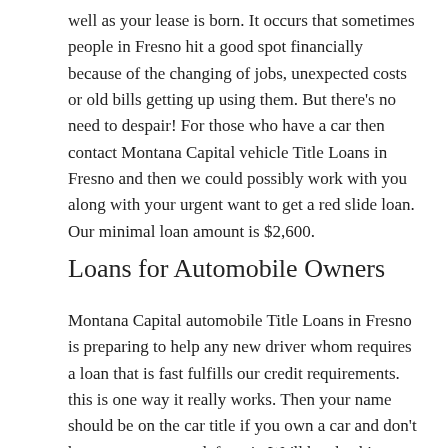well as your lease is born. It occurs that sometimes people in Fresno hit a good spot financially because of the changing of jobs, unexpected costs or old bills getting up using them. But there's no need to despair! For those who have a car then contact Montana Capital vehicle Title Loans in Fresno and then we could possibly work with you along with your urgent want to get a red slide loan. Our minimal loan amount is $2,600.
Loans for Automobile Owners
Montana Capital automobile Title Loans in Fresno is preparing to help any new driver whom requires a loan that is fast fulfills our credit requirements. this is one way it really works. Then your name should be on the car title if you own a car and don't have any payments left on it. We'll be checking on top of other things your capability to